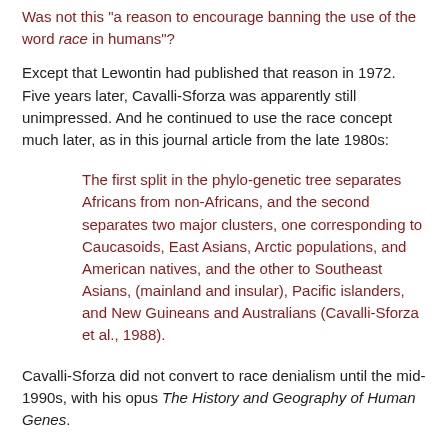Was not this "a reason to encourage banning the use of the word race in humans"?
Except that Lewontin had published that reason in 1972. Five years later, Cavalli-Sforza was apparently still unimpressed. And he continued to use the race concept much later, as in this journal article from the late 1980s:
The first split in the phylo-genetic tree separates Africans from non-Africans, and the second separates two major clusters, one corresponding to Caucasoids, East Asians, Arctic populations, and American natives, and the other to Southeast Asians, (mainland and insular), Pacific islanders, and New Guineans and Australians (Cavalli-Sforza et al., 1988).
Cavalli-Sforza did not convert to race denialism until the mid-1990s, with his opus The History and Geography of Human Genes.